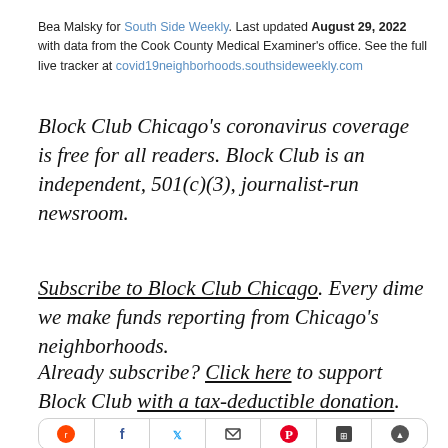Bea Malsky for South Side Weekly. Last updated August 29, 2022 with data from the Cook County Medical Examiner's office. See the full live tracker at covid19neighborhoods.southsideweekly.com
Block Club Chicago's coronavirus coverage is free for all readers. Block Club is an independent, 501(c)(3), journalist-run newsroom.
Subscribe to Block Club Chicago. Every dime we make funds reporting from Chicago's neighborhoods.
Already subscribe? Click here to support Block Club with a tax-deductible donation.
[Figure (other): Social media sharing icon bar with icons for Reddit, Facebook, Twitter, email, Pinterest, and other platforms]